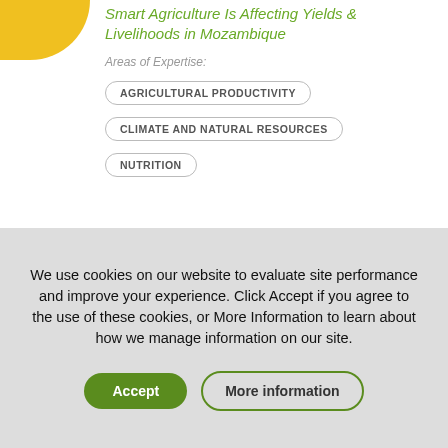[Figure (logo): Yellow circular logo / quarter-circle in top-left corner]
Smart Agriculture Is Affecting Yields & Livelihoods in Mozambique
Areas of Expertise:
AGRICULTURAL PRODUCTIVITY
CLIMATE AND NATURAL RESOURCES
NUTRITION
We use cookies on our website to evaluate site performance and improve your experience. Click Accept if you agree to the use of these cookies, or More Information to learn about how we manage information on our site.
Accept
More information